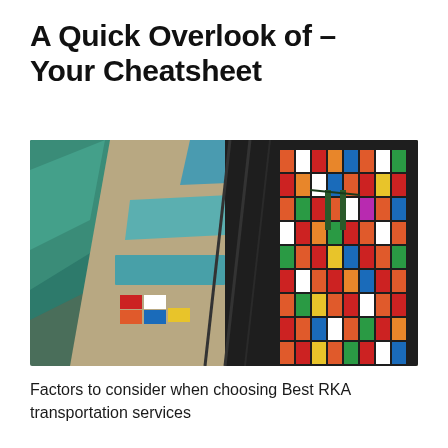A Quick Overlook of – Your Cheatsheet
[Figure (photo): Aerial view of a shipping port with rows of colorful stacked shipping containers (red, orange, white, green, blue) on a dark dock surface, with teal/green water visible on the left side and warehouse structures.]
Factors to consider when choosing Best RKA transportation services